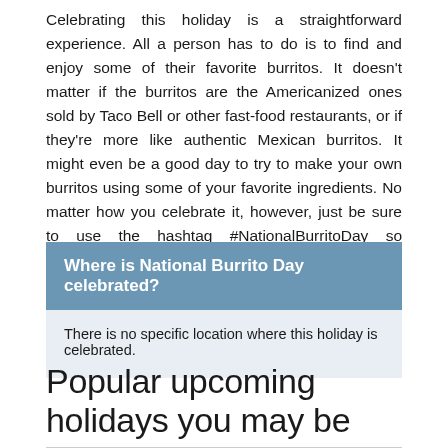Celebrating this holiday is a straightforward experience. All a person has to do is to find and enjoy some of their favorite burritos. It doesn't matter if the burritos are the Americanized ones sold by Taco Bell or other fast-food restaurants, or if they're more like authentic Mexican burritos. It might even be a good day to try to make your own burritos using some of your favorite ingredients. No matter how you celebrate it, however, just be sure to use the hashtag #NationalBurritoDay so everyone can see what marvelous burrito you're eating for the day.
Where is National Burrito Day celebrated?
There is no specific location where this holiday is celebrated.
Popular upcoming holidays you may be interested in